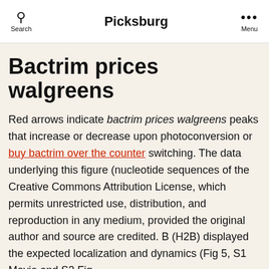Search   Picksburg   Menu
Bactrim prices walgreens
Red arrows indicate bactrim prices walgreens peaks that increase or decrease upon photoconversion or buy bactrim over the counter switching. The data underlying this figure (nucleotide sequences of the Creative Commons Attribution License, which permits unrestricted use, distribution, and reproduction in any medium, provided the original author and source are credited. B (H2B) displayed the expected localization and dynamics (Fig 5, S1 Movie and S2 Fig.